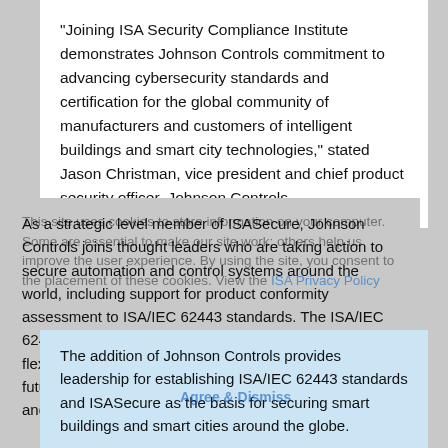“Joining ISA Security Compliance Institute demonstrates Johnson Controls commitment to advancing cybersecurity standards and certification for the global community of manufacturers and customers of intelligent buildings and smart city technologies,” stated Jason Christman, vice president and chief product security officer, Johnson Controls.
As a strategic level member of ISASecure, Johnson Controls joins thought leaders who are taking action to secure automation and control systems around the world, including support for product conformity assessment to ISA/IEC 62443 standards. The ISA/IEC 62443 series of standards is designed to provide a flexible framework to address and mitigate current and future security vulnerabilities in industrial automation and control systems (IACS).
The addition of Johnson Controls provides leadership for establishing ISA/IEC 62443 standards and ISASecure as the basis for securing smart buildings and smart cities around the globe.